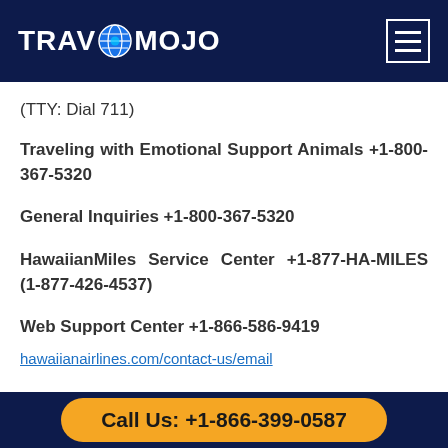TRAVMOJO
(TTY: Dial 711)
Traveling with Emotional Support Animals +1-800-367-5320
General Inquiries +1-800-367-5320
HawaiianMiles Service Center +1-877-HA-MILES (1-877-426-4537)
Web Support Center +1-866-586-9419
Call Us: +1-866-399-0587